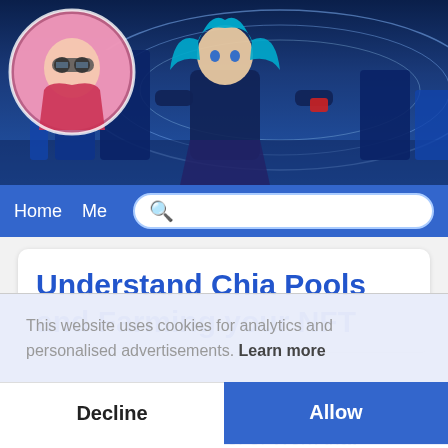[Figure (illustration): Anime-style website header banner featuring a blue-haired character (Hatsune Miku-like) seated at what appears to be controls or drums, wearing a dark bodysuit, with futuristic blue-toned background. A circular avatar portrait in the top-left corner shows another anime character with goggles.]
Home   Me   [search]
Understand Chia Pools and Farming your NFT
This website uses cookies for analytics and personalised advertisements. Learn more
Decline   Allow
much more familiar Proof of Work that